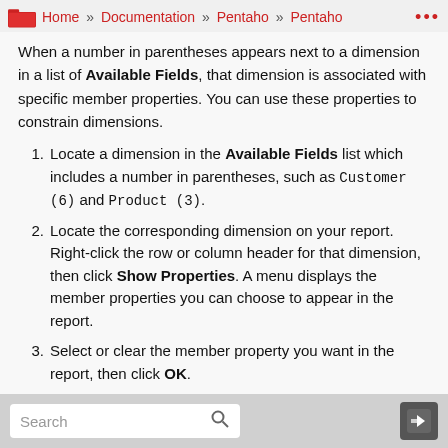Home » Documentation » Pentaho » Pentaho ...
When a number in parentheses appears next to a dimension in a list of Available Fields, that dimension is associated with specific member properties. You can use these properties to constrain dimensions.
1. Locate a dimension in the Available Fields list which includes a number in parentheses, such as Customer (6) and Product (3).
2. Locate the corresponding dimension on your report. Right-click the row or column header for that dimension, then click Show Properties. A menu displays the member properties you can choose to appear in the report.
3. Select or clear the member property you want in the report, then click OK.
Search